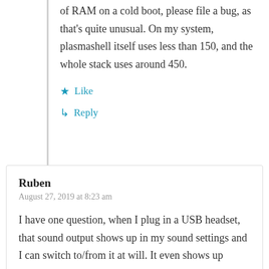of RAM on a cold boot, please file a bug, as that's quite unusual. On my system, plasmashell itself uses less than 150, and the whole stack uses around 450.
★ Like
↳ Reply
Ruben
August 27, 2019 at 8:23 am
I have one question, when I plug in a USB headset, that sound output shows up in my sound settings and I can switch to/from it at will. It even shows up